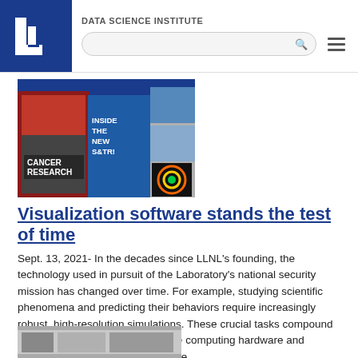DATA SCIENCE INSTITUTE
[Figure (photo): A collage of Science & Technology Review magazine covers showing 'Cancer Research' and 'Inside the New S&TR!' headlines, with one cover featuring a colorful scientific visualization]
Visualization software stands the test of time
Sept. 13, 2021- In the decades since LLNL's founding, the technology used in pursuit of the Laboratory's national security mission has changed over time. For example, studying scientific phenomena and predicting their behaviors require increasingly robust, high-resolution simulations. These crucial tasks compound the demands on high-performance computing hardware and software, which must continually be...
[Figure (photo): Partial view of another article image at the bottom of the page]